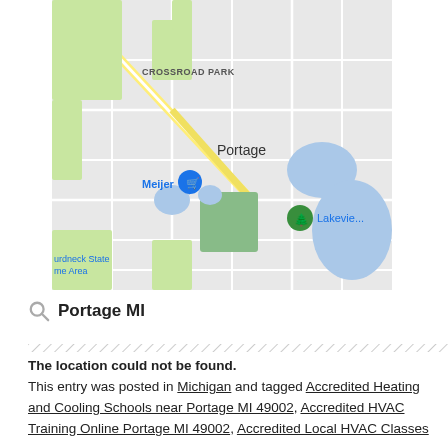[Figure (map): Google Maps view showing Portage, MI area with CROSSROAD PARK label, Meijer location pin (blue), green tree location pin near Lakeview, blue water bodies, green park areas, and partial text 'urdneck State me Area' at bottom left.]
Portage MI
The location could not be found.
This entry was posted in Michigan and tagged Accredited Heating and Cooling Schools near Portage MI 49002, Accredited HVAC Training Online Portage MI 49002, Accredited Local HVAC Classes near Portage MI 49002, Accredited Local HVAC Classes